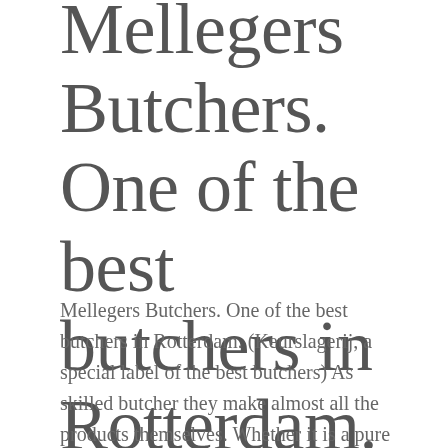Mellegers Butchers. One of the best butchers in Rotterdam.
Mellegers Butchers. One of the best butchers in Rotterdam. (Keurslagerij, a special label of the best butchers) As skilled butcher they make almost all the products themselves. Whether it is a pure piece of meat, the finest meats, the most